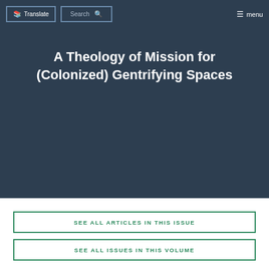Translate | Search | menu
A Theology of Mission for (Colonized) Gentrifying Spaces
SEE ALL ARTICLES IN THIS ISSUE
SEE ALL ISSUES IN THIS VOLUME